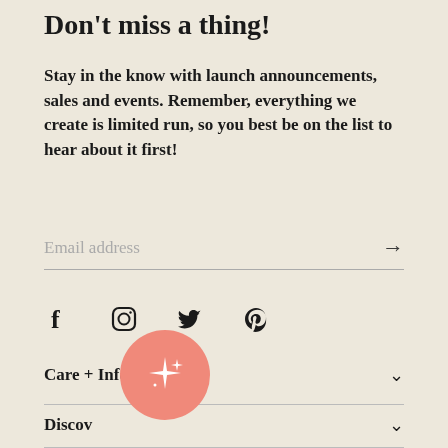Don't miss a thing!
Stay in the know with launch announcements, sales and events. Remember, everything we create is limited run, so you best be on the list to hear about it first!
Email address →
[Figure (infographic): Social media icons: Facebook (f), Instagram (circle), Twitter (bird), Pinterest (p)]
Care + Info
Discov
[Figure (illustration): Pink circular button with sparkle/star icons]